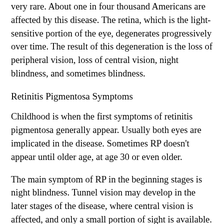very rare. About one in four thousand Americans are affected by this disease. The retina, which is the light-sensitive portion of the eye, degenerates progressively over time. The result of this degeneration is the loss of peripheral vision, loss of central vision, night blindness, and sometimes blindness.
Retinitis Pigmentosa Symptoms
Childhood is when the first symptoms of retinitis pigmentosa generally appear. Usually both eyes are implicated in the disease. Sometimes RP doesn't appear until older age, at age 30 or even older.
The main symptom of RP in the beginning stages is night blindness. Tunnel vision may develop in the later stages of the disease, where central vision is affected, and only a small portion of sight is available.
One study of patients suffering from RP revealed that, in patients 45 years and older, 52% had at least 20/40 central vision in one eye, 25% had 20/200 vision or below, and 0.5% were completely blind.